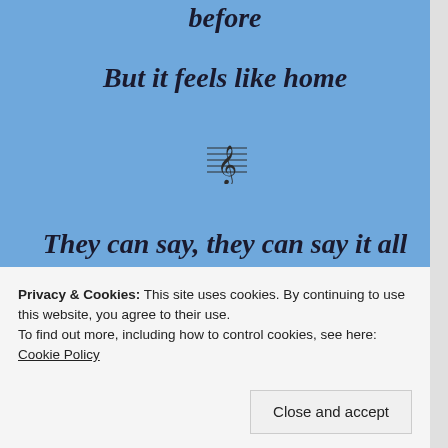before
But it feels like home
[Figure (illustration): Musical note / treble clef icon]
They can say, they can say it all sounds crazy
They can say, they can say I've lost my mind
Privacy & Cookies: This site uses cookies. By continuing to use this website, you agree to their use. To find out more, including how to control cookies, see here: Cookie Policy
Close and accept